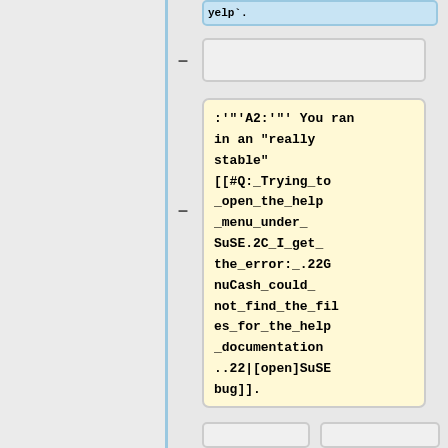[Figure (screenshot): Wiki-style page showing structured Q&A content with boxes. A blue-bordered box appears top right with partial text 'yelp'. A yellow highlighted box contains monospace text with colon, A2 answer and a wiki link. Below are two light gray boxes and two more boxes with question text starting with ==== Q: Why doesn't online quoting work?]
:'"'A2:'"' You ran in an "really stable" [[#Q:_Trying_to_open_the_help_menu_under_SuSE.2C_I_get_the_error:_.22GnuCash_could_not_find_the_files_for_the_help_documentation..22|[open]SuSE bug]].
===='''Q:''' Why doesn't online quoting work?
===='''Q:''' Why doesn't online quoting work?